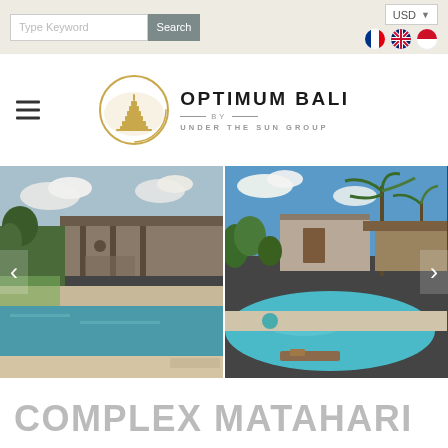Type Keyword | Search | USD
[Figure (logo): Optimum Bali by Under The Sun Group logo — circular gold emblem with temple/pagoda motif]
OPTIMUM BALI BY UNDER THE SUN GROUP
[Figure (photo): Image slider showing two villa/resort photos side by side: left photo shows a modern open-air villa with a long lap pool overlooking rice fields; right photo shows a tropical villa with curved pool, palm trees, and thatched roof structures. Navigation arrows on left and right sides.]
COMPLEX MATAHARI